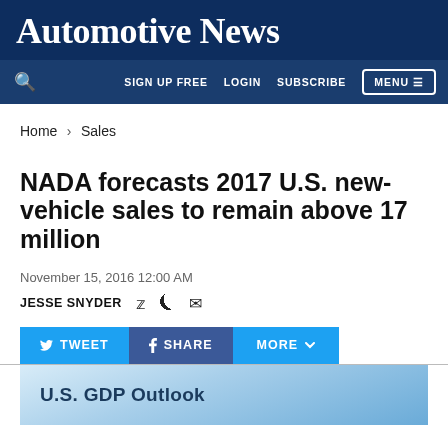Automotive News
SIGN UP FREE   LOGIN   SUBSCRIBE   MENU
Home > Sales
NADA forecasts 2017 U.S. new-vehicle sales to remain above 17 million
November 15, 2016 12:00 AM
JESSE SNYDER
[Figure (screenshot): Social sharing buttons: TWEET, SHARE, MORE with dropdown arrow]
[Figure (photo): Partial image showing text 'U.S. GDP Outlook' on a blue-tinted screen/slide]